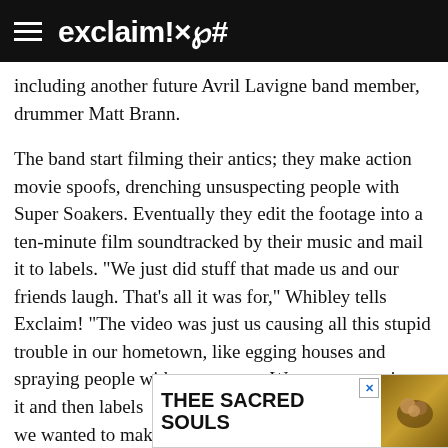exclaim!×℗#
including another future Avril Lavigne band member, drummer Matt Brann.
The band start filming their antics; they make action movie spoofs, drenching unsuspecting people with Super Soakers. Eventually they edit the footage into a ten-minute film soundtracked by their music and mail it to labels. "We just did stuff that made us and our friends laugh. That's all it was for," Whibley tells Exclaim! "The video was just us causing all this stupid trouble in our hometown, like egging houses and spraying people with water guns. We put our music on it and then labels wanted to sign us, just because we wanted to make our friends laugh."
They s... tal into th... l hair
[Figure (other): Advertisement banner for Thee Sacred Souls with album art]